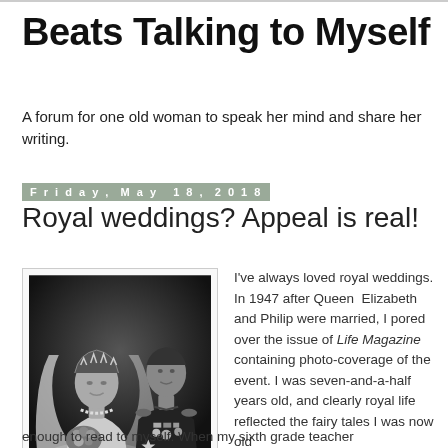Beats Talking to Myself
A forum for one old woman to speak her mind and share her writing.
Friday, May 18, 2018
Royal weddings? Appeal is real!
[Figure (photo): Black and white wedding portrait of Queen Elizabeth and Prince Philip in military uniform]
I've always loved royal weddings. In 1947 after Queen Elizabeth and Philip were married, I pored over the issue of Life Magazine containing photo-coverage of the event. I was seven-and-a-half years old, and clearly royal life reflected the fairy tales I was now old enough to read to myself. When my sixth grade teacher